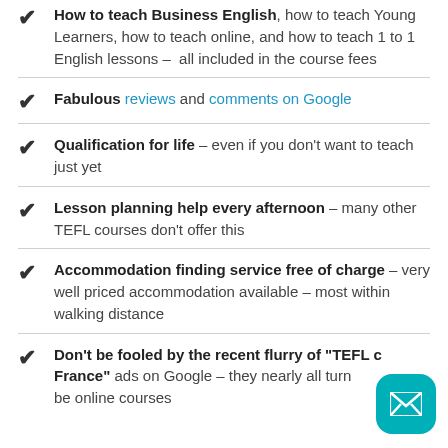How to teach Business English, how to teach Young Learners, how to teach online, and how to teach 1 to 1 English lessons – all included in the course fees
Fabulous reviews and comments on Google
Qualification for life – even if you don't want to teach just yet
Lesson planning help every afternoon – many other TEFL courses don't offer this
Accommodation finding service free of charge – very well priced accommodation available – most within walking distance
Don't be fooled by the recent flurry of "TEFL courses in France" ads on Google – they nearly all turn out to be online courses